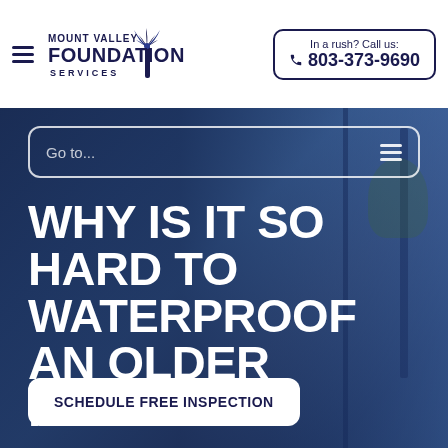Mount Valley Foundation Services | In a rush? Call us: 803-373-9690
[Figure (screenshot): Website screenshot showing Mount Valley Foundation Services header with logo, hamburger menu, phone call box (803-373-9690), a 'Go to...' navigation dropdown, and a hero section with the headline 'WHY IS IT SO HARD TO WATERPROOF AN OLDER HOME?' over a blue-tinted photo background, with a 'SCHEDULE FREE INSPECTION' button.]
WHY IS IT SO HARD TO WATERPROOF AN OLDER HOME?
SCHEDULE FREE INSPECTION